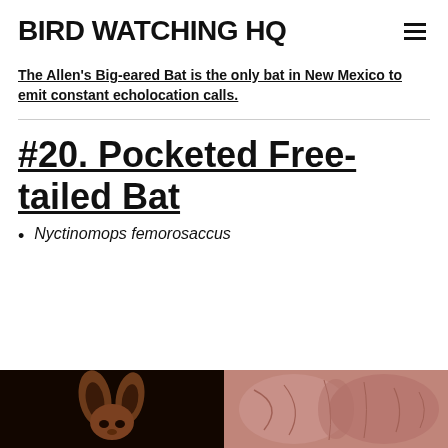BIRD WATCHING HQ
The Allen's Big-eared Bat is the only bat in New Mexico to emit constant echolocation calls.
#20. Pocketed Free-tailed Bat
Nyctinomops femorosaccus
[Figure (photo): Two photos of the Pocketed Free-tailed Bat side by side: left photo shows a bat with large ears against a dark background, right photo shows close-up of pinkish bat body/wing skin]